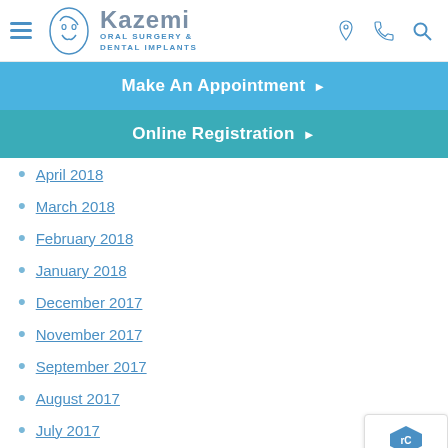[Figure (logo): Kazemi Oral Surgery & Dental Implants logo with hamburger menu and header icons (location, phone, search)]
Make An Appointment ▶
Online Registration ▶
April 2018
March 2018
February 2018
January 2018
December 2017
November 2017
September 2017
August 2017
July 2017
June 2017